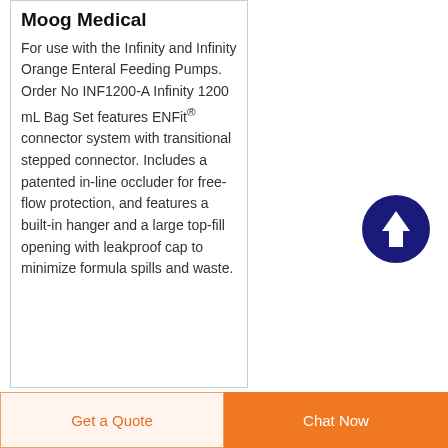Moog Medical
For use with the Infinity and Infinity Orange Enteral Feeding Pumps. Order No INF1200-A Infinity 1200 mL Bag Set features ENFit® connector system with transitional stepped connector. Includes a patented in-line occluder for free-flow protection, and features a built-in hanger and a large top-fill opening with leakproof cap to minimize formula spills and waste.
[Figure (illustration): Dark navy blue circular button with white upward arrow icon, used as a scroll-to-top button]
Get a Quote
Chat Now